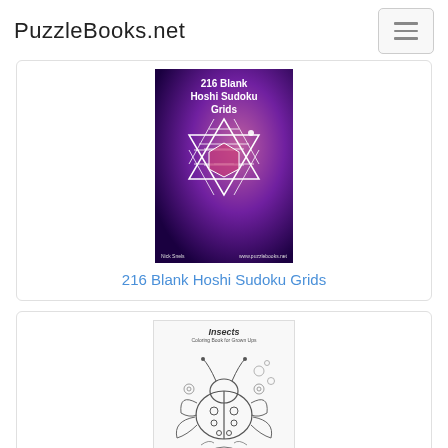PuzzleBooks.net
[Figure (illustration): Book cover for '216 Blank Hoshi Sudoku Grids' by Nick Snels. Dark purple/magenta space background with a white geometric star (Star of David made of triangular grid cells) in the center. Title text at top reads '216 Blank Hoshi Sudoku Grids'. Author name and website shown at bottom.]
216 Blank Hoshi Sudoku Grids
[Figure (illustration): Book cover for 'Insects Coloring Book for Grown Ups'. White background with detailed line-art illustration of a ladybug surrounded by flowers, leaves, and decorative elements in black and white. Title 'Insects' in italic font at top.]